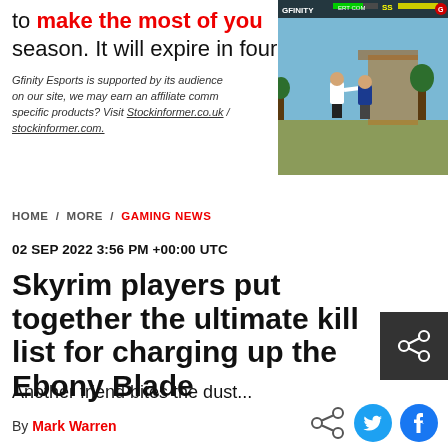to make the most of you season. It will expire in four
[Figure (screenshot): Gfinity Esports logo and a fighting game screenshot showing two characters fighting with a health bar UI at the top]
Gfinity Esports is supported by its audience. When you purchase through links on our site, we may earn an affiliate commission. Looking for specific products? Visit Stockinformer.co.uk / stockinformer.com.
HOME / MORE / GAMING NEWS
02 SEP 2022 3:56 PM +00:00 UTC
Skyrim players put together the ultimate kill list for charging up the Ebony Blade
Another friend bites the dust...
By Mark Warren